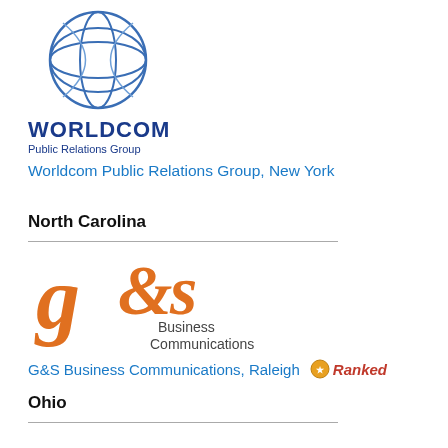[Figure (logo): Worldcom Public Relations Group globe logo in blue]
WORLDCOM
Public Relations Group
Worldcom Public Relations Group, New York
North Carolina
[Figure (logo): g&s Business Communications logo in orange with stylized script g&s and sans-serif 'Business Communications' text]
G&S Business Communications, Raleigh  Ranked
Ohio
[Figure (logo): Partial circular logo with orange and red arcs, bottom of page]